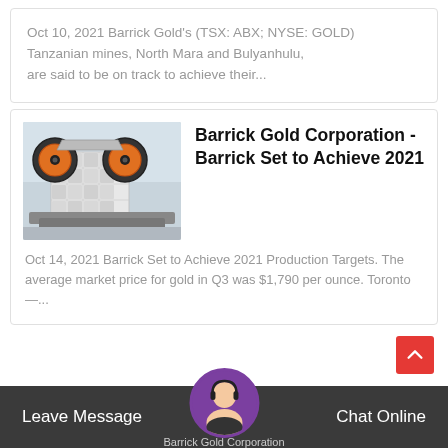Oct 10, 2021 Barrick Gold's (TSX: ABX; NYSE: GOLD) Tanzanian mines, North Mara and Bulyanhulu, are said to be on track to achieve their...
[Figure (photo): Industrial mining jaw crusher machine in a factory setting, white and orange colored, with circular flywheels visible]
Barrick Gold Corporation - Barrick Set to Achieve 2021
Oct 14, 2021 Barrick Set to Achieve 2021 Production Targets. The average market price for gold in Q3 was $1,790 per ounce. Toronto —...
Leave Message   Barrick Gold Corporation   Chat Online